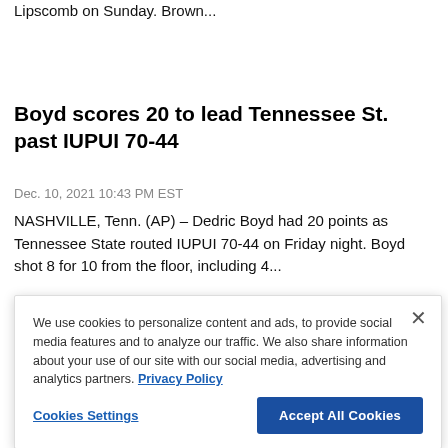Lipscomb on Sunday. Brown...
Boyd scores 20 to lead Tennessee St. past IUPUI 70-44
Dec. 10, 2021 10:43 PM EST
NASHVILLE, Tenn. (AP) – Dedric Boyd had 20 points as Tennessee State routed IUPUI 70-44 on Friday night. Boyd shot 8 for 10 from the floor, including 4...
Corbett lifts Chicago St. over Tennessee St. 59-49
Dec. 11, 2021
CHICAGO (AP) – Jahsean Corbett registered 17 points and eight rebounds as Chicago State beat Tennessee State 59-49 on Saturday. Coreyoun...
We use cookies to personalize content and ads, to provide social media features and to analyze our traffic. We also share information about your use of our site with our social media, advertising and analytics partners. Privacy Policy
Cookies Settings
Accept All Cookies